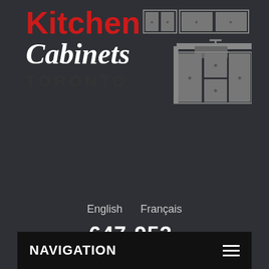[Figure (logo): Kitchen Cabinets Toronto logo with text and kitchen cabinet illustration in grey on dark background]
[Figure (infographic): Promotional banner: 10% Discount badge, THIS MONTH'S PROMOTION, When you visit our SHOWROOM, hours MON-THU 10am-6pm, Friday 10am-3.30pm, 4884 Dufferin Street Just South of Steeles On Dufferin]
English    Français
647-953-4231
NAVIGATION